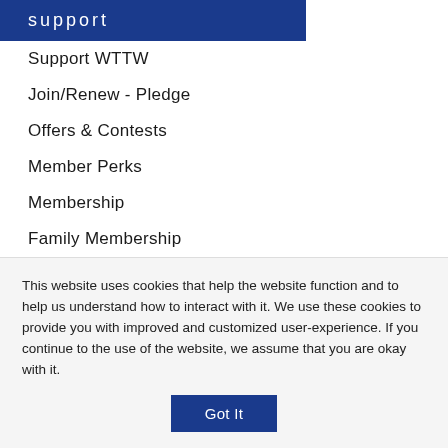support
Support WTTW
Join/Renew - Pledge
Offers & Contests
Member Perks
Membership
Family Membership
Corporate/Foundation Gifts
Major/Planned Gifts
Vehicle Donation
This website uses cookies that help the website function and to help us understand how to interact with it. We use these cookies to provide you with improved and customized user-experience. If you continue to the use of the website, we assume that you are okay with it.
Got It